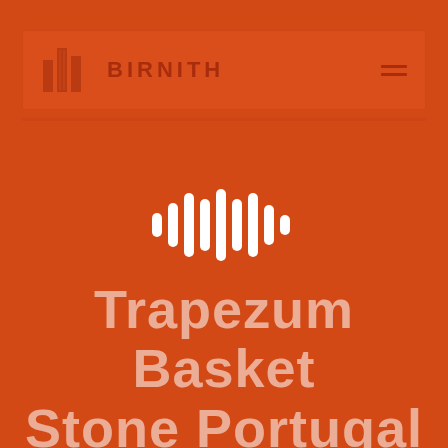[Figure (logo): Birnith company logo with orange building/construction icon and brand name BIRNITH in bold letters, with hamburger menu icon on right, inside a header bar]
[Figure (infographic): White audio waveform / sound bars icon centered on the page]
Trapezum Basket Stone Portugal